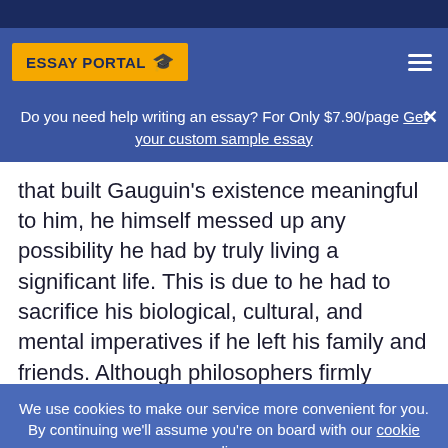[Figure (logo): Essay Portal logo with graduation cap on yellow background in blue navigation bar]
Do you need help writing an essay? For Only $7.90/page Get your custom sample essay
that built Gauguin's existence meaningful to him, he himself messed up any possibility he had by truly living a significant life. This is due to he had to sacrifice his biological, cultural, and mental imperatives if he left his family and friends. Although philosophers firmly believe in individualism, Cottingham offers an alternative in his
We use cookies to make our service more convenient for you. By continuing we'll assume you're on board with our cookie policy